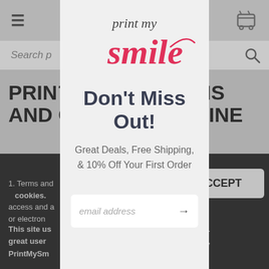[Figure (screenshot): Background website page with navigation bar, search bar, page heading 'PRINT MY [CONDITIONS] AND C[ONDITIONS]' and 'TERMS [AND CONDITIONS] ONLINE', body text, dark strip with cookie notice and accept button]
[Figure (screenshot): Modal popup for PrintMySmile newsletter signup]
Don't Miss Out!
Great Deals, Free Shipping, & 10% Off Your First Order
email address →